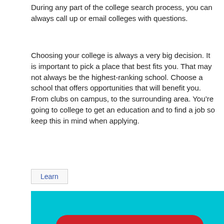During any part of the college search process, you can always call up or email colleges with questions.
Choosing your college is always a very big decision. It is important to pick a place that best fits you. That may not always be the highest-ranking school. Choose a school that offers opportunities that will benefit you. From clubs on campus, to the surrounding area. You’re going to college to get an education and to find a job so keep this in mind when applying.
Learn
[Figure (infographic): Infographic with cyan/turquoise background showing a red speech bubble with white text reading 'OKAY WHAT'S NEXT?' and a thought cloud with a large red and black question mark.]
[Figure (photo): Partial photo strip showing green trees at the bottom of the page.]